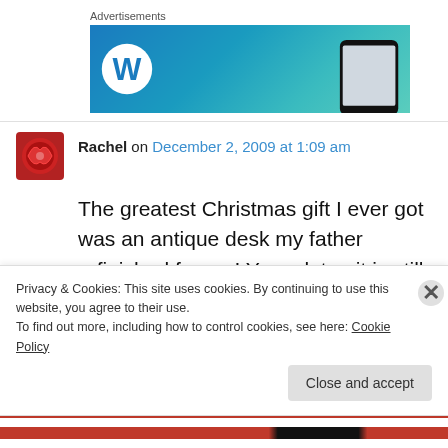Advertisements
[Figure (screenshot): WordPress advertisement banner with blue-to-teal gradient background, WordPress logo on left, and a phone on the right]
Rachel on December 2, 2009 at 1:09 am
The greatest Christmas gift I ever got was an antique desk my father refinished for me! Years later, it is still my favorite piece of furniture.
Privacy & Cookies: This site uses cookies. By continuing to use this website, you agree to their use.
To find out more, including how to control cookies, see here: Cookie Policy